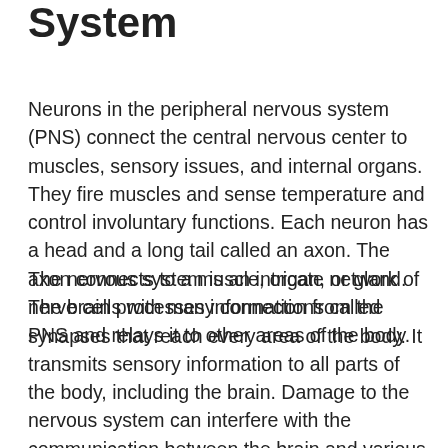System
Neurons in the peripheral nervous system (PNS) connect the central nervous center to muscles, sensory issues, and internal organs. They fire muscles and sense temperature and control involuntary functions. Each neuron has a head and a long tail called an axon. The axon connects to a muscle, organ, or gland. The brain processes information from the PNS and relays it to other areas of the body.
The nervous system is an intricate network of nerve cells with many connections called synapses that reach every area of the body. It transmits sensory information to all parts of the body, including the brain. Damage to the nervous system can interfere with the communication between the brain and various parts of the body, including digestion, the beating of the heart,